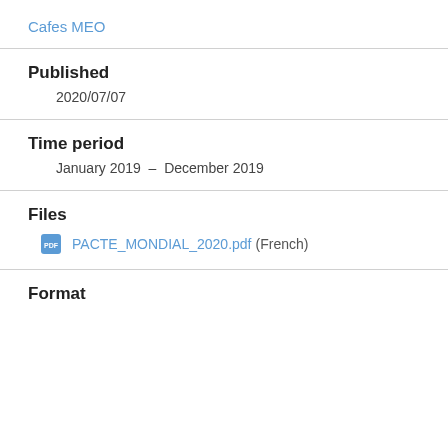Cafes MEO
Published
2020/07/07
Time period
January 2019  –  December 2019
Files
PACTE_MONDIAL_2020.pdf (French)
Format